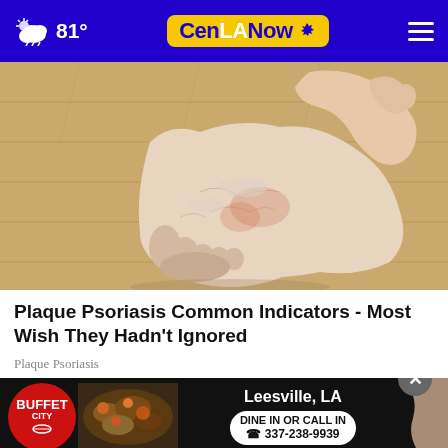81° CenLANow
[Figure (photo): Close-up photo of a human foot/heel showing dry, scaly skin characteristic of plaque psoriasis, being held by a hand, on a wooden floor background.]
Plaque Psoriasis Common Indicators - Most Wish They Hadn't Ignored
Plaque Psoriasis
[Figure (other): Advertisement for Buffet City restaurant in Leesville, LA showing food buffet image with text: DINE IN OR CALL IN 337-238-9939]